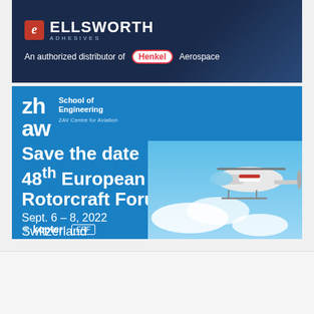[Figure (advertisement): Ellsworth Adhesives banner ad — dark navy background with stylized 'e' logo in red. Text: 'ELLSWORTH ADHESIVES — An authorized distributor of Henkel Aerospace'. Henkel shown in red oval badge.]
[Figure (advertisement): ZHAW School of Engineering / ZAV Centre for Aviation blue banner ad. Text: 'Save the date / 48th European Rotorcraft Forum / Sept. 6 – 8, 2022 / Switzerland'. Helicopter photo bottom-right. Kopter and ERF logos at bottom.]
⌂ / Military /
GA-ASI Plans to Demonstrate Maritime Capability in UK